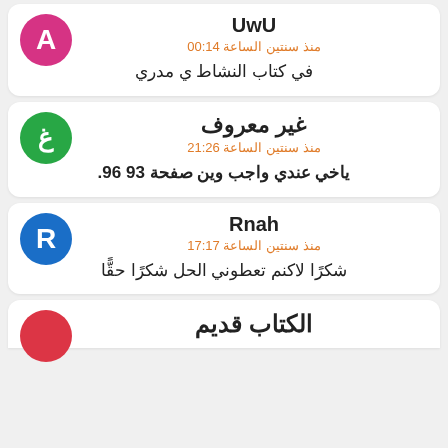UwU
منذ سنتين الساعة 00:14
في كتاب النشاط ي مدري
غير معروف
منذ سنتين الساعة 21:26
ياخي عندي واجب وين صفحة 93 96.
Rnah
منذ سنتين الساعة 17:17
شكرًا لاكنم تعطوني الحل شكرًا حقًّا
الكتاب قديم